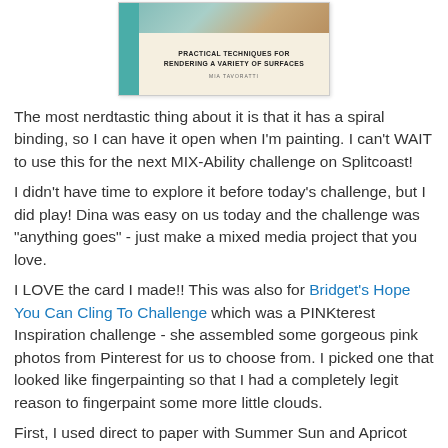[Figure (illustration): Book cover for a painting/art instruction book. Teal spine on left, beige/cream background, title text 'PRACTICAL TECHNIQUES FOR RENDERING A VARIETY OF SURFACES' by MIA TAVORATTI. Top portion shows a partial image of painted surfaces.]
The most nerdtastic thing about it is that it has a spiral binding, so I can have it open when I'm painting. I can't WAIT to use this for the next MIX-Ability challenge on Splitcoast!
I didn't have time to explore it before today's challenge, but I did play! Dina was easy on us today and the challenge was "anything goes" - just make a mixed media project that you love.
I LOVE the card I made!! This was also for Bridget's Hope You Can Cling To Challenge which was a PINKterest Inspiration challenge - she assembled some gorgeous pink photos from Pinterest for us to choose from. I picked one that looked like fingerpainting so that I had a completely legit reason to fingerpaint some more little clouds.
First, I used direct to paper with Summer Sun and Apricot Appeal to create the sky. I sponged the edges with Soft